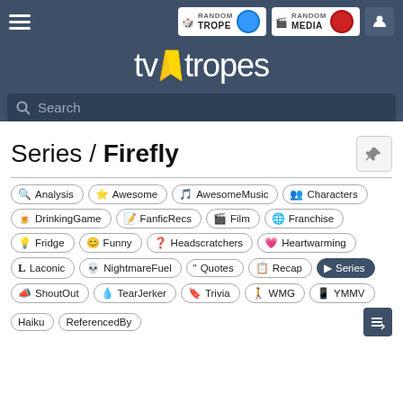[Figure (logo): TV Tropes website header with logo, hamburger menu, Random Trope and Random Media buttons, user icon, and search bar]
Series / Firefly
Analysis
Awesome
AwesomeMusic
Characters
DrinkingGame
FanficRecs
Film
Franchise
Fridge
Funny
Headscratchers
Heartwarming
Laconic
NightmareFuel
Quotes
Recap
Series
ShoutOut
TearJerker
Trivia
WMG
YMMV
Haiku
ReferencedBy